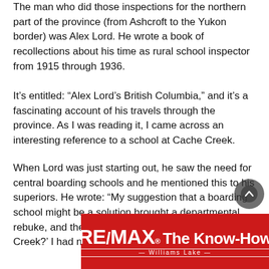The man who did those inspections for the northern part of the province (from Ashcroft to the Yukon border) was Alex Lord. He wrote a book of recollections about his time as rural school inspector from 1915 through 1936.
It’s entitled: “Alex Lord’s British Columbia,” and it’s a fascinating account of his travels through the province. As I was reading it, I came across an interesting reference to a school at Cache Creek.
When Lord was just starting out, he saw the need for central boarding schools and he mentioned this to his superiors. He wrote: “My suggestion that a boarding school might be a solution brought a departmental rebuke, and the query ‘Did you never hear of Cache Creek?’ I had not, but it seemed
[Figure (logo): RE/MAX The Know-How — Williams Lake advertisement banner in red with white text]